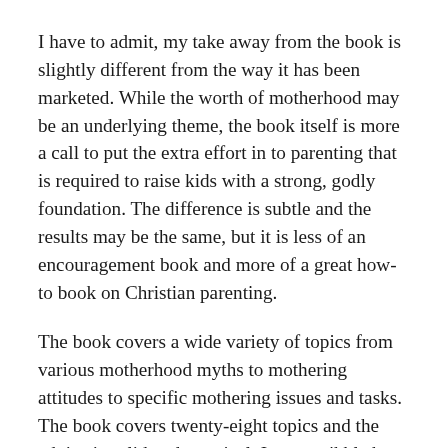I have to admit, my take away from the book is slightly different from the way it has been marketed. While the worth of motherhood may be an underlying theme, the book itself is more a call to put the extra effort in to parenting that is required to raise kids with a strong, godly foundation. The difference is subtle and the results may be the same, but it is less of an encouragement book and more of a great how-to book on Christian parenting.
The book covers a wide variety of topics from various motherhood myths to mothering attitudes to specific mothering issues and tasks. The book covers twenty-eight topics and the advice is solid and practical. I may quibble here and there with a couple of points (I would have been more specific in teaching the steps of godly conflict management and am not sure how realistic it is for spouses to always